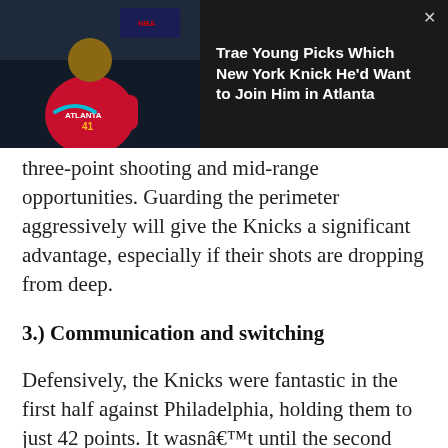[Figure (photo): Dark overlay banner showing a basketball player in an Atlanta Hawks jersey (number 41, red and gold), with NBA logo visible in background. The right side shows text on dark background.]
Trae Young Picks Which New York Knick He'd Want to Join Him in Atlanta
three-point shooting and mid-range opportunities. Guarding the perimeter aggressively will give the Knicks a significant advantage, especially if their shots are dropping from deep.
3.) Communication and switching
Defensively, the Knicks were fantastic in the first half against Philadelphia, holding them to just 42 points. It wasnâ€™t until the second half where they gave up a bit of legroom but still matched them offensively with ease.